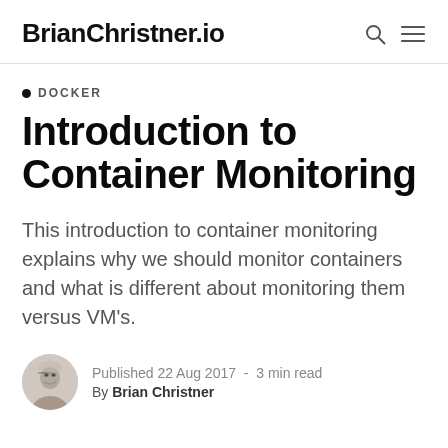BrianChristner.io
DOCKER
Introduction to Container Monitoring
This introduction to container monitoring explains why we should monitor containers and what is different about monitoring them versus VM's.
Published 22 Aug 2017  -  3 min read
By Brian Christner